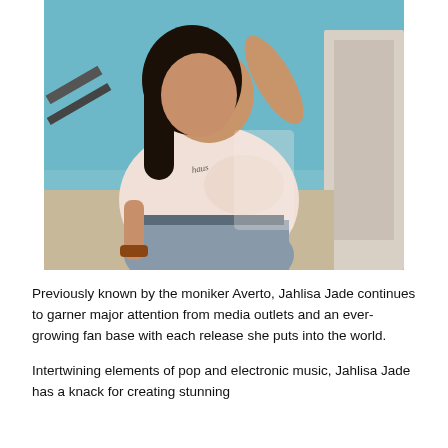[Figure (photo): Young woman with dark hair seated outdoors, wearing a light pink long-sleeve top with a small script logo on the chest and grey jeans. She has one hand raised behind her head. Background shows a teal/blue sky and architectural elements with sunlight casting shadows.]
Previously known by the moniker Averto, Jahlisa Jade continues to garner major attention from media outlets and an ever-growing fan base with each release she puts into the world.
Intertwining elements of pop and electronic music, Jahlisa Jade has a knack for creating stunning